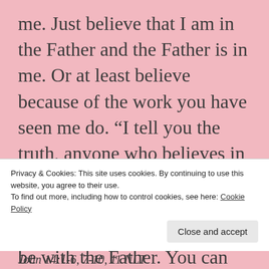me. Just believe that I am in the Father and the Father is in me. Or at least believe because of the work you have seen me do. “I tell you the truth, anyone who believes in me will do the same works I have done, and even greater works, because I am going to be with the Father. You can ask for anything in my
Privacy & Cookies: This site uses cookies. By continuing to use this website, you agree to their use.
To find out more, including how to control cookies, see here: Cookie Policy
Close and accept
John 14:1-6, 7-10, 11 NLT